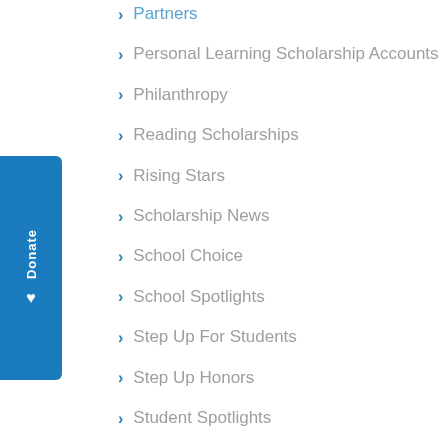Partners
Personal Learning Scholarship Accounts
Philanthropy
Reading Scholarships
Rising Stars
Scholarship News
School Choice
School Spotlights
Step Up For Students
Step Up Honors
Student Spotlights